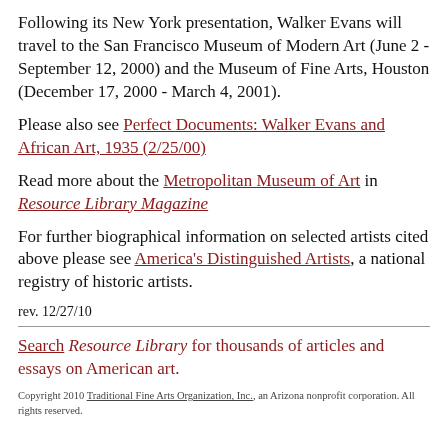Following its New York presentation, Walker Evans will travel to the San Francisco Museum of Modern Art (June 2 - September 12, 2000) and the Museum of Fine Arts, Houston (December 17, 2000 - March 4, 2001).
Please also see Perfect Documents: Walker Evans and African Art, 1935 (2/25/00)
Read more about the Metropolitan Museum of Art in Resource Library Magazine
For further biographical information on selected artists cited above please see America's Distinguished Artists, a national registry of historic artists.
rev. 12/27/10
Search Resource Library for thousands of articles and essays on American art.
Copyright 2010 Traditional Fine Arts Organization, Inc., an Arizona nonprofit corporation. All rights reserved.